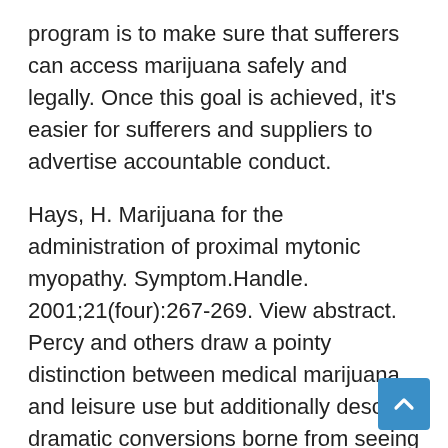program is to make sure that sufferers can access marijuana safely and legally. Once this goal is achieved, it's easier for sufferers and suppliers to advertise accountable conduct.
Hays, H. Marijuana for the administration of proximal mytonic myopathy. Symptom.Handle. 2001;21(four):267-269. View abstract. Percy and others draw a pointy distinction between medical marijuana and leisure use but additionally describe dramatic conversions borne from seeing the benefits of marijuana for the sickest of sufferers, together with children with epilepsy or most cancers-stricken